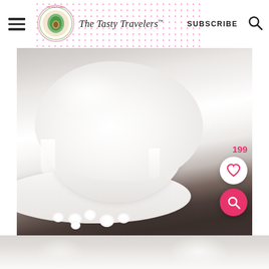The Tasty Travelers - SUBSCRIBE
[Figure (photo): Close-up photo of a white bowl filled with whipped cream, overflowing over the sides, sitting on a ruffled white plate with small white marshmallows scattered around. Dark wooden surface background. Pink heart save button showing 199 saves, and a pink search button overlaid on the bottom right of the image.]
[Figure (photo): Partial bottom view of a blurred background, continuing from the main food photo above.]